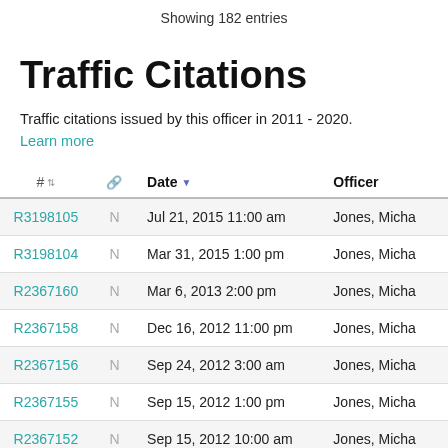Showing 182 entries
Traffic Citations
Traffic citations issued by this officer in 2011 - 2020.
Learn more
| # |  | Date | Officer |
| --- | --- | --- | --- |
| R3198105 | N | Jul 21, 2015 11:00 am | Jones, Micha |
| R3198104 | N | Mar 31, 2015 1:00 pm | Jones, Micha |
| R2367160 | N | Mar 6, 2013 2:00 pm | Jones, Micha |
| R2367158 | N | Dec 16, 2012 11:00 pm | Jones, Micha |
| R2367156 | N | Sep 24, 2012 3:00 am | Jones, Micha |
| R2367155 | N | Sep 15, 2012 1:00 pm | Jones, Micha |
| R2367152 | N | Sep 15, 2012 10:00 am | Jones, Micha |